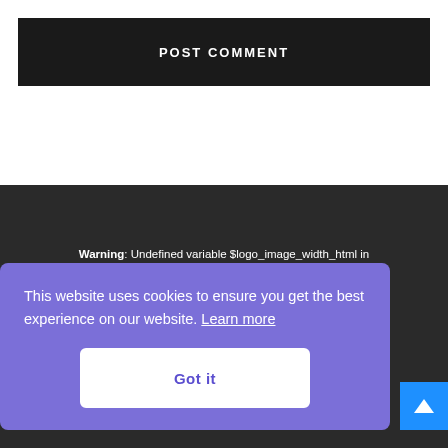POST COMMENT
Warning: Undefined variable $logo_image_width_html in /home/worldabc/www/www/wp-content/plugins/td-
Warning: Undefined variable $logo_image_width_html in /home/worldabc/www/www/wp-content/plugins/td-
This website uses cookies to ensure you get the best experience on our website. Learn more
Got it